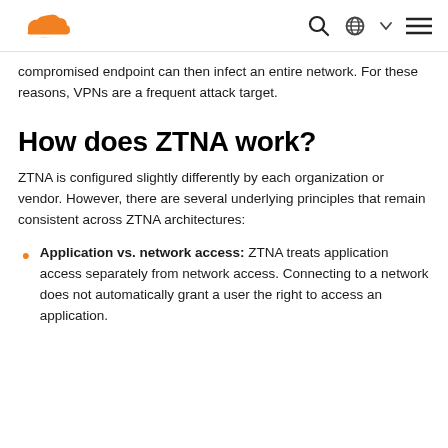Cloudflare logo, search, language selector, menu
compromised endpoint can then infect an entire network. For these reasons, VPNs are a frequent attack target.
How does ZTNA work?
ZTNA is configured slightly differently by each organization or vendor. However, there are several underlying principles that remain consistent across ZTNA architectures:
Application vs. network access: ZTNA treats application access separately from network access. Connecting to a network does not automatically grant a user the right to access an application.